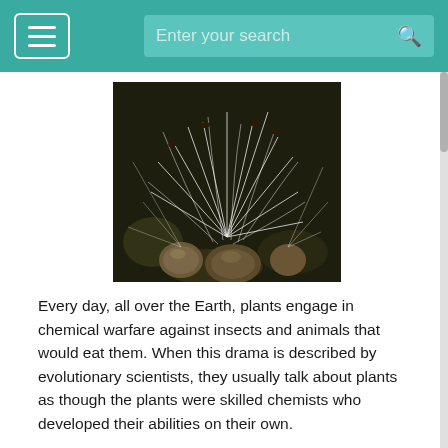Enter your search
[Figure (photo): Close-up photograph of milkweed seeds with white silky fibers bursting from seed pods, against a dark background.]
Every day, all over the Earth, plants engage in chemical warfare against insects and animals that would eat them. When this drama is described by evolutionary scientists, they usually talk about plants as though the plants were skilled chemists who developed their abilities on their own.
For example, the leaves of the oak tree contain tannins. Tannins